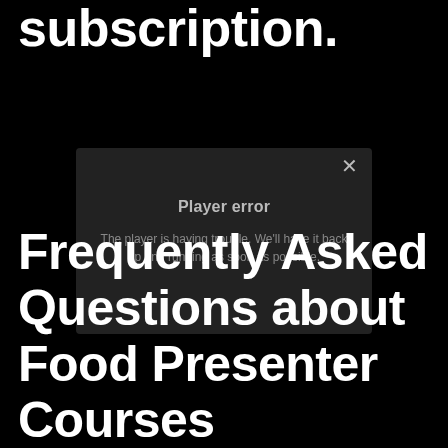subscription.
[Figure (screenshot): A video player error dialog box with a dark background showing 'Player error' title and message 'The player is having trouble. We'll have it back up and running as soon as possible.' with an X close button in the top right.]
Frequently Asked Questions about Food Presenter Courses